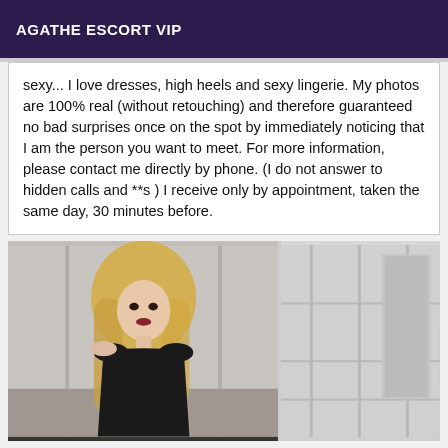AGATHE ESCORT VIP
sexy... I love dresses, high heels and sexy lingerie. My photos are 100% real (without retouching) and therefore guaranteed no bad surprises once on the spot by immediately noticing that I am the person you want to meet. For more information, please contact me directly by phone. (I do not answer to hidden calls and **s ) I receive only by appointment, taken the same day, 30 minutes before.
[Figure (photo): Photo of a blonde woman wearing a black outfit, photographed outdoors near a building with light-colored panels]